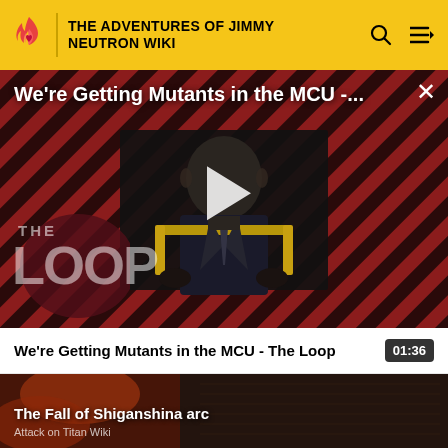THE ADVENTURES OF JIMMY NEUTRON WIKI
[Figure (screenshot): Video player showing 'We're Getting Mutants in the MCU - ...' with a bald man seated in a chair, diagonal orange/red striped background, THE LOOP watermark logo, and a play button overlay]
We're Getting Mutants in the MCU - The Loop	01:36
[Figure (screenshot): Thumbnail for 'The Fall of Shiganshina arc' video with red/orange textured background]